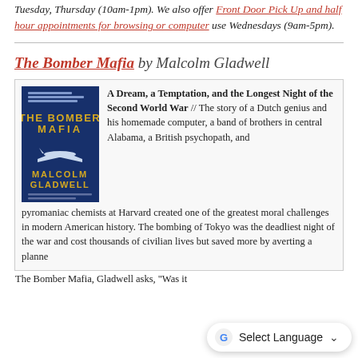Tuesday, Thursday (10am-1pm). We also offer Front Door Pick Up and half hour appointments for browsing or computer use Wednesdays (9am-5pm).
The Bomber Mafia by Malcolm Gladwell
[Figure (illustration): Book cover of The Bomber Mafia by Malcolm Gladwell, blue background with airplane silhouette]
A Dream, a Temptation, and the Longest Night of the Second World War // The story of a Dutch genius and his homemade computer, a band of brothers in central Alabama, a British psychopath, and pyromaniac chemists at Harvard created one of the greatest moral challenges in modern American history. The bombing of Tokyo was the deadliest night of the war and cost thousands of civilian lives but saved more by averting a planned... The Bomber Mafia, Gladwell asks, "Was it